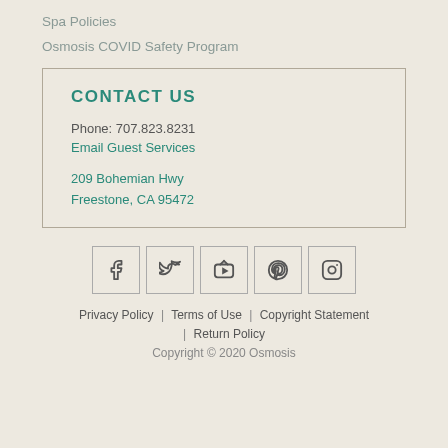Spa Policies
Osmosis COVID Safety Program
CONTACT US
Phone: 707.823.8231
Email Guest Services
209 Bohemian Hwy
Freestone, CA 95472
[Figure (other): Social media icons: Facebook, Twitter, YouTube, Pinterest, Instagram]
Privacy Policy | Terms of Use | Copyright Statement | Return Policy
Copyright © 2020 Osmosis